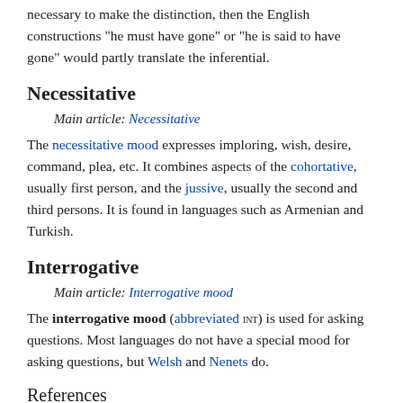necessary to make the distinction, then the English constructions "he must have gone" or "he is said to have gone" would partly translate the inferential.
Necessitative
Main article: Necessitative
The necessitative mood expresses imploring, wish, desire, command, plea, etc. It combines aspects of the cohortative, usually first person, and the jussive, usually the second and third persons. It is found in languages such as Armenian and Turkish.
Interrogative
Main article: Interrogative mood
The interrogative mood (abbreviated INT) is used for asking questions. Most languages do not have a special mood for asking questions, but Welsh and Nenets do.
References
1. ↑ Gonda, J., 1966. A concise elementary grammar of the
4. ↑ Loos, Eugene E.; Anderson, Susan; Day,